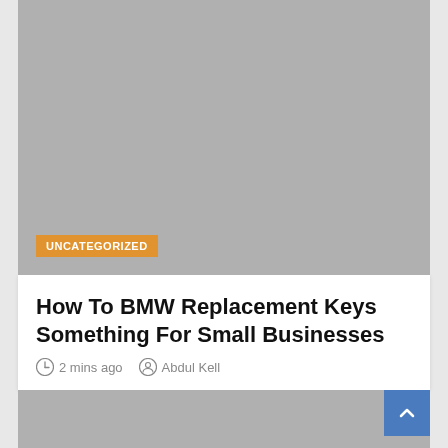[Figure (photo): Gray placeholder image with UNCATEGORIZED badge overlay]
How To BMW Replacement Keys Something For Small Businesses
2 mins ago   Abdul Kell
[Figure (photo): Gray placeholder image (partially visible at bottom of page) with blue scroll-to-top button]